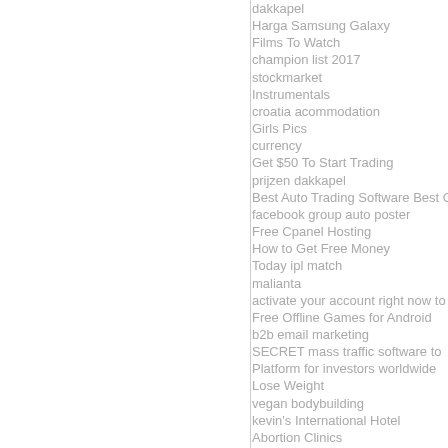dakkapel
Harga Samsung Galaxy
Films To Watch
champion list 2017
stockmarket
Instrumentals
croatia acommodation
Girls Pics
currency
Get $50 To Start Trading
prijzen dakkapel
Best Auto Trading Software Best Option
facebook group auto poster
Free Cpanel Hosting
How to Get Free Money
Today ipl match
malianta
activate your account right now to
Free Offline Games for Android
b2b email marketing
SECRET mass traffic software to
Platform for investors worldwide
Lose Weight
vegan bodybuilding
kevin's International Hotel
Abortion Clinics
Hack Riot Points
Streaming Movies
ipl match Highlights
free movies online